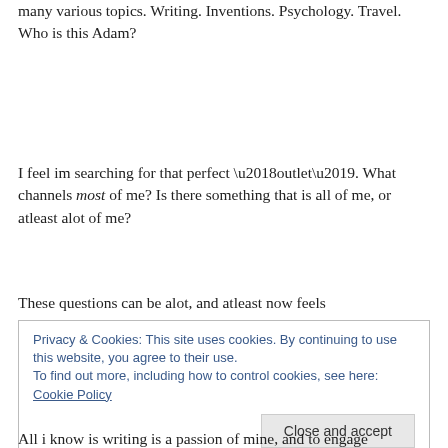many various topics. Writing. Inventions. Psychology. Travel. Who is this Adam?
I feel im searching for that perfect ‘outlet’. What channels most of me? Is there something that is all of me, or atleast alot of me?
These questions can be alot, and atleast now feels
Privacy & Cookies: This site uses cookies. By continuing to use this website, you agree to their use.
To find out more, including how to control cookies, see here: Cookie Policy
All i know is writing is a passion of mine, and to engage